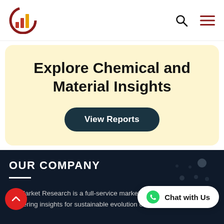[Figure (logo): Company logo with red and yellow stylized bar chart graphic]
Explore Chemical and Material Insights
View Reports
OUR COMPANY
tzy Market Research is a full-service market research company delivering insights for sustainable evolution of